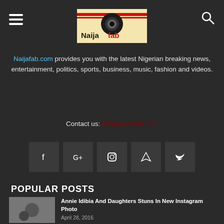[Figure (logo): Naijafab logo with stylized camera icon and red/black striped banner]
Naijafab.com provides you with the latest Nigerian breaking news, entertainment, politics, sports, business, music, fashion and videos.
Contact us: info@naijafab.com
[Figure (other): Social media icons: Facebook, Google+, Instagram, RSS, Twitter]
POPULAR POSTS
[Figure (photo): Photo of Annie Idibia and daughters]
Annie Idibia And Daughters Stuns In New Instagram Photo
April 28, 2016
[Figure (photo): Photo related to Riky Rick Sidlukotini video]
NEW VIDEO: Riky Rick – Sidlukotini
June 27, 2016